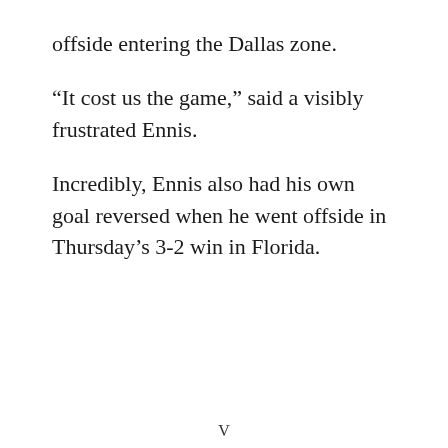offside entering the Dallas zone.
“It cost us the game,” said a visibly frustrated Ennis.
Incredibly, Ennis also had his own goal reversed when he went offside in Thursday’s 3-2 win in Florida.
V